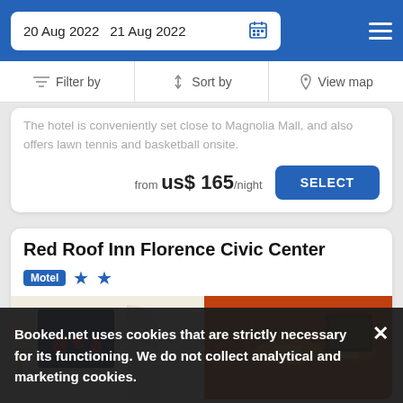20 Aug 2022  21 Aug 2022
Filter by  Sort by  View map
The hotel is conveniently set close to Magnolia Mall, and also offers lawn tennis and basketball onsite.
from us$ 165/night  SELECT
Red Roof Inn Florence Civic Center
Motel ★★
[Figure (photo): Interior hotel room photo showing orange/rust colored walls with wall sconces, framed artwork, and partial view of room furnishings]
Booked.net uses cookies that are strictly necessary for its functioning. We do not collect analytical and marketing cookies.